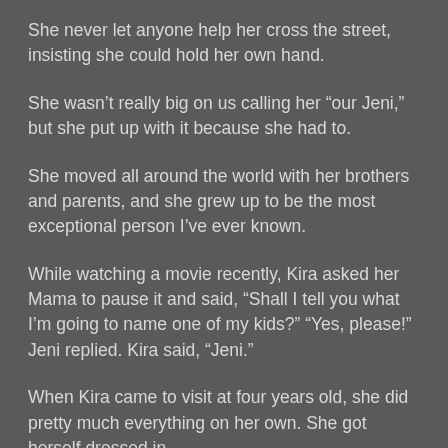She never let anyone help her cross the street, insisting she could hold her own hand.
She wasn't really big on us calling her “our Jeni,” but she put up with it because she had to.
She moved all around the world with her brothers and parents, and she grew up to be the most exceptional person I’ve ever known.
While watching a movie recently, Kira asked her Mama to pause it and said, “Shall I tell you what I’m going to name one of my kids?” “Yes, please!” Jeni replied. Kira said, “Jeni.”
When Kira came to visit at four years old, she did pretty much everything on her own. She got herself dressed in